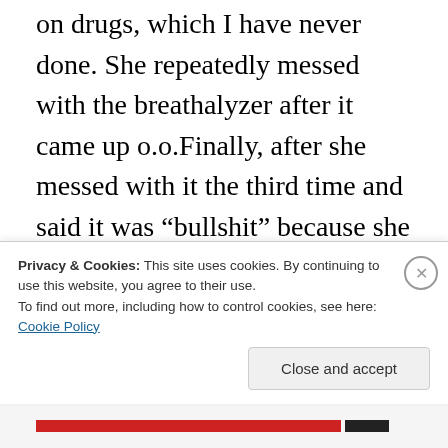on drugs, which I have never done. She repeatedly messed with the breathalyzer after it came up o.o.Finally, after she messed with it the third time and said it was “bullshit” because she could “smell alcohol” on my breath, it came out 0.007, and she got me for drinking while underage, the Not a Drop law. Then she took me into the station and told me that I had to take a drug
Privacy & Cookies: This site uses cookies. By continuing to use this website, you agree to their use.
To find out more, including how to control cookies, see here: Cookie Policy